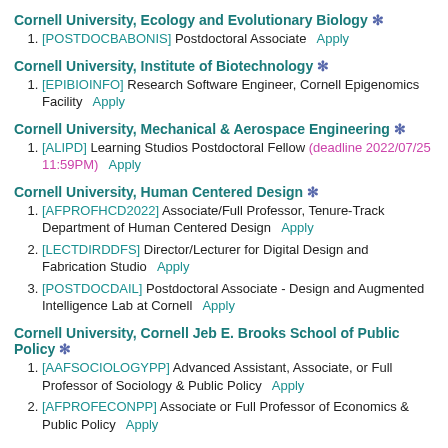Cornell University, Ecology and Evolutionary Biology *
[POSTDOCBABONIS] Postdoctoral Associate   Apply
Cornell University, Institute of Biotechnology *
[EPIBIOINFO] Research Software Engineer, Cornell Epigenomics Facility   Apply
Cornell University, Mechanical & Aerospace Engineering *
[ALIPD] Learning Studios Postdoctoral Fellow (deadline 2022/07/25 11:59PM)   Apply
Cornell University, Human Centered Design *
[AFPROFHCD2022] Associate/Full Professor, Tenure-Track Department of Human Centered Design   Apply
[LECTDIRDDFS] Director/Lecturer for Digital Design and Fabrication Studio   Apply
[POSTDOCDAIL] Postdoctoral Associate - Design and Augmented Intelligence Lab at Cornell   Apply
Cornell University, Cornell Jeb E. Brooks School of Public Policy *
[AAFSOCIOLOGYPP] Advanced Assistant, Associate, or Full Professor of Sociology & Public Policy   Apply
[AFPROFECONPP] Associate or Full Professor of Economics & Public Policy   Apply